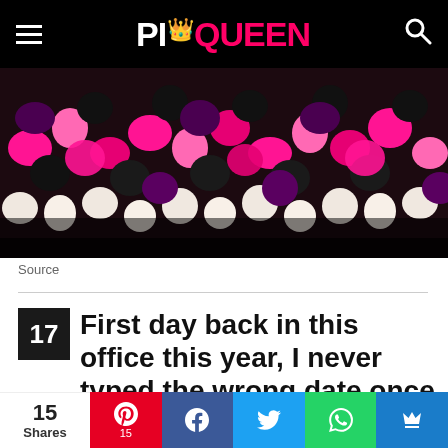PI QUEEN
[Figure (photo): Close-up photo of a colorful crocheted or knitted rug/mat with pink, black, white, and purple yarn pieces forming a bumpy texture]
Source
17  First day back in this office this year, I never typed the wrong date once
[Figure (photo): Partial photo showing a black and white zebra-striped or abstract patterned surface]
15 Shares